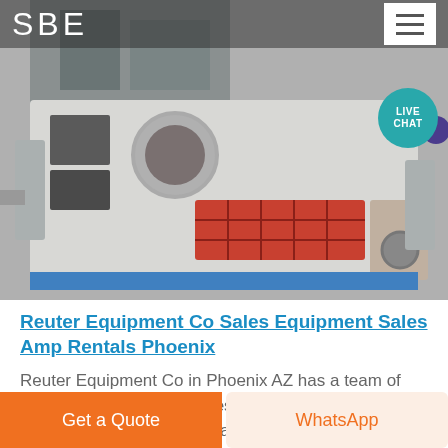SBE
[Figure (photo): Industrial mining/aggregate equipment machine photographed in a factory or warehouse setting. The machine is large, white/grey in color with a red grid panel visible in the center front.]
Reuter Equipment Co Sales Equipment Sales Amp Rentals Phoenix
Reuter Equipment Co in Phoenix AZ has a team of skilled sales representatives who can determine your specific needs with aggregate amp mining equipment
Get a Quote
WhatsApp